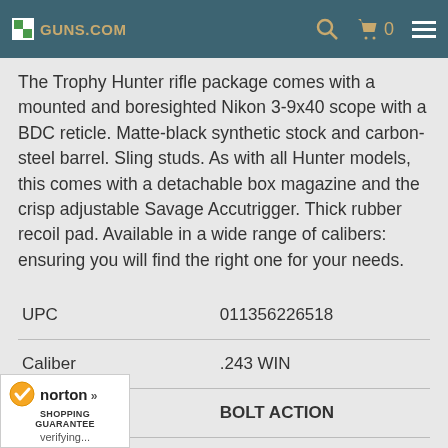Guns.com
The Trophy Hunter rifle package comes with a mounted and boresighted Nikon 3-9x40 scope with a BDC reticle. Matte-black synthetic stock and carbon-steel barrel. Sling studs. As with all Hunter models, this comes with a detachable box magazine and the crisp adjustable Savage Accutrigger. Thick rubber recoil pad. Available in a wide range of calibers: ensuring you will find the right one for your needs.
| UPC | 011356226518 |
| Caliber | .243 WIN |
|  | BOLT ACTION |